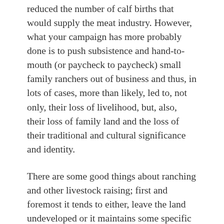reduced the number of calf births that would supply the meat industry. However, what your campaign has more probably done is to push subsistence and hand-to-mouth (or paycheck to paycheck) small family ranchers out of business and thus, in lots of cases, more than likely, led to, not only, their loss of livelihood, but, also, their loss of family land and the loss of their traditional and cultural significance and identity.
There are some good things about ranching and other livestock raising; first and foremost it tends to either, leave the land undeveloped or it maintains some specific form of under development and that does lend to the continued existence of natural habitats of indigenous species. In addition, it also maintains a certain amount of greenery that helps reduce the CO2 in the air and the negative impact of CO2 on the environment. It also, provides employment and improved standards of living for those who are employed, not only on ranches, but